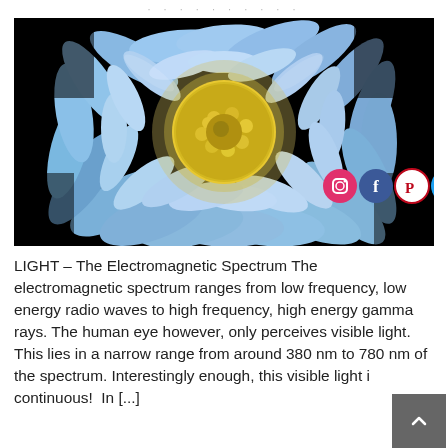· · · · · · · · ·
[Figure (photo): Close-up photo of a blue and yellow flower (chrysanthemum-like) lit with blue light against a black background. The flower has blue-white petals and a bright yellow center. Social media icons (Instagram, Facebook, Pinterest, Twitter) are overlaid in the bottom-right corner of the image.]
LIGHT – The Electromagnetic Spectrum The electromagnetic spectrum ranges from low frequency, low energy radio waves to high frequency, high energy gamma rays. The human eye however, only perceives visible light.  This lies in a narrow range from around 380 nm to 780 nm of the spectrum. Interestingly enough, this visible light is continuous!  In [...]